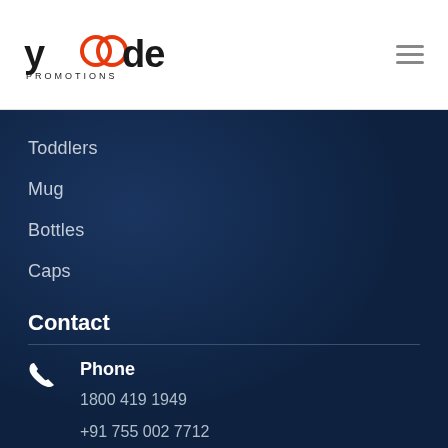[Figure (logo): Yoode Promotions logo with stylized text — y in black, double-o as overlapping circles with red color, de in black, PROMOTIONS subtitle in small caps]
Toddlers
Mug
Bottles
Caps
Contact
Phone
1800 419 1949
+91 755 002 7712